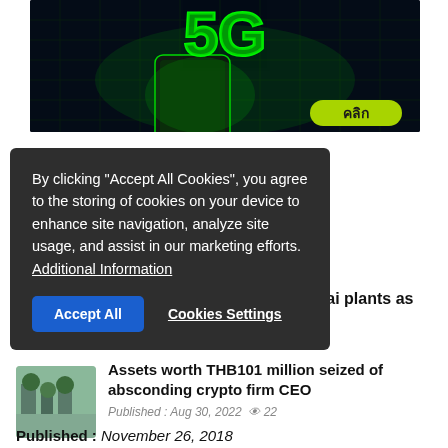[Figure (illustration): 5G promotional banner with glowing green 5G logo over a smartphone against dark circuit board background, with a green Thai-language button 'คลิก' in the bottom right corner.]
By clicking "Accept All Cookies", you agree to the storing of cookies on your device to enhance site navigation, analyze site usage, and assist in our marketing efforts. Additional Information
Accept All
Cookies Settings
ng as usual, still in good
thort: Anupong
Published : Aug 30, 2022  👁 2
Saudi allows chicken imports from 11 Thai plants as trade takes off
Published : Aug 30, 2022  👁 2
Assets worth THB101 million seized of absconding crypto firm CEO
Published : Aug 30, 2022  👁 22
Published : November 26, 2018